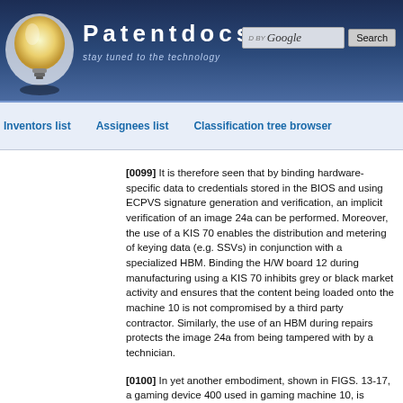Patentdocs — stay tuned to the technology
Inventors list  Assignees list  Classification tree browser
[0099] It is therefore seen that by binding hardware-specific data to credentials stored in the BIOS and using ECPVS signature generation and verification, an implicit verification of an image 24a can be performed. Moreover, the use of a KIS 70 enables the distribution and metering of keying data (e.g. SSVs) in conjunction with a specialized HBM. Binding the H/W board 12 during manufacturing using a KIS 70 inhibits grey or black market activity and ensures that the content being loaded onto the machine 10 is not compromised by a third party contractor. Similarly, the use of an HBM during repairs protects the image 24a from being tampered with by a technician.
[0100] In yet another embodiment, shown in FIGS. 13-17, a gaming device 400 used in gaming machine 10, is authenticated using a one time programmable (OTP) read only memory (ROM) BIOS 402. The BIOS 402 is trusted because by nature it cannot be modified (i.e. "read only"), and is used in this embodiment instead of a flash BIOS.